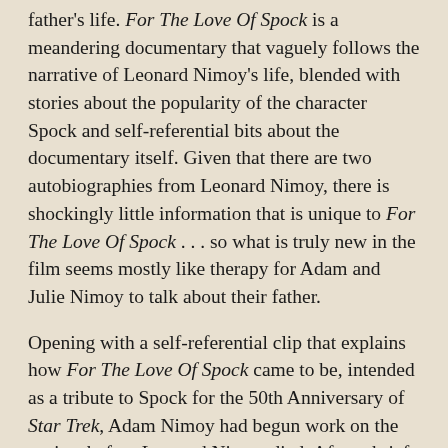father's life. For The Love Of Spock is a meandering documentary that vaguely follows the narrative of Leonard Nimoy's life, blended with stories about the popularity of the character Spock and self-referential bits about the documentary itself. Given that there are two autobiographies from Leonard Nimoy, there is shockingly little information that is unique to For The Love Of Spock . . . so what is truly new in the film seems mostly like therapy for Adam and Julie Nimoy to talk about their father.
Opening with a self-referential clip that explains how For The Love Of Spock came to be, intended as a tribute to Spock for the 50th Anniversary of Star Trek, Adam Nimoy had begun work on the project before Leonard Nimoy died. After a brief biography of how Leonard Nimoy - who had never held an acting job for more then two weeks and was working as, essentially, a jack of all trades in order to make ends meet for his family while pursuing his passion of acting - was hand-selected by Gene Roddenberry to play Spock, the documentary transitions into an exploration of the character. Featuring interviews by William Shatner, George Takei, Karl Urban, Simon Pegg, Jason Alexander and Chris Pine and